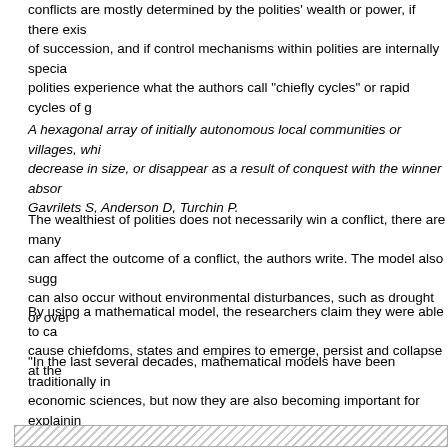conflicts are mostly determined by the polities' wealth or power, if there exists rules of succession, and if control mechanisms within polities are internally specialized, polities experience what the authors call "chiefly cycles" or rapid cycles of g...
A hexagonal array of initially autonomous local communities or villages, which can increase, decrease in size, or disappear as a result of conquest with the winner absorbing the loser. Gavrilets S, Anderson D, Turchin P.
The wealthiest of polities does not necessarily win a conflict, there are many factors that can affect the outcome of a conflict, the authors write. The model also suggests that collapse can also occur without environmental disturbances, such as drought or over...
By using a mathematical model, the researchers claim they were able to capture what can cause chiefdoms, states and empires to emerge, persist and collapse at the...
"In the last several decades, mathematical models have been traditionally important in economic sciences, but now they are also becoming important for explaining... "Our model provides theoretical support for the view that cultural, demographic... predict the emergence and dynamics of complex societies."
[Figure (other): Hatched/striped rectangular box at the bottom of the page, suggesting an image or figure placeholder with diagonal hatching pattern.]